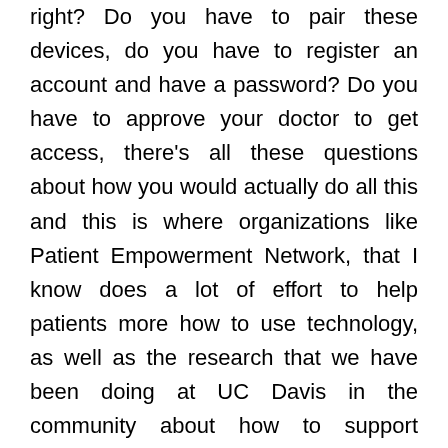right? Do you have to pair these devices, do you have to register an account and have a password? Do you have to approve your doctor to get access, there's all these questions about how you would actually do all this and this is where organizations like Patient Empowerment Network, that I know does a lot of effort to help patients more how to use technology, as well as the research that we have been doing at UC Davis in the community about how to support patients overcome all these barriers becomes really critical, we have to actually work together to make sure all three of these issues are addressed so that everybody can have access.